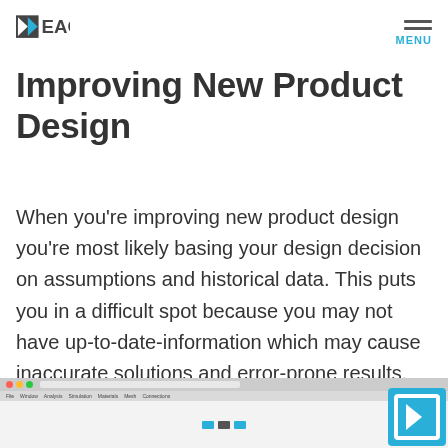EAC — MENU
Improving New Product Design
When you're improving new product design you're most likely basing your design decision on assumptions and historical data. This puts you in a difficult spot because you may not have up-to-date-information which may cause inaccurate solutions and error-prone results.
[Figure (screenshot): Screenshot of a software application interface (likely CAD/PLM tool), showing a navigation bar with menu items and a central workspace area. EAC logo icon visible in bottom-right corner.]